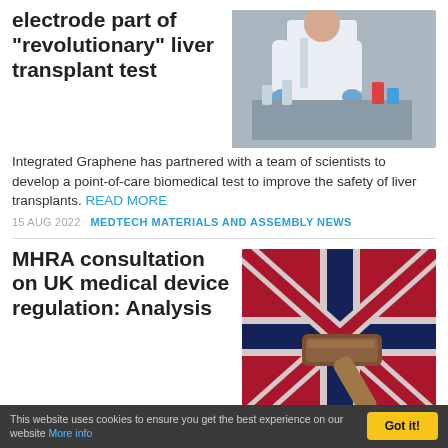electrode part of "revolutionary" liver transplant test
[Figure (photo): Scientist in white lab coat working with equipment in a laboratory setting]
Integrated Graphene has partnered with a team of scientists to develop a point-of-care biomedical test to improve the safety of liver transplants. READ MORE
15 AUG 2022   MEDTECH MATERIALS AND ASSEMBLY NEWS
MHRA consultation on UK medical device regulation: Analysis
[Figure (photo): A gavel resting on a Union Jack flag background with a red cross, with Shutterstock watermark]
Ian Bolland is joined by
This website uses cookies to ensure you get the best experience on our website More info